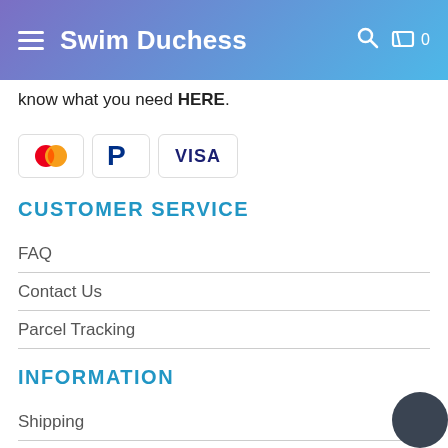Swim Duchess
know what you need HERE.
[Figure (other): Payment method icons: Mastercard, PayPal, Visa]
CUSTOMER SERVICE
FAQ
Contact Us
Parcel Tracking
INFORMATION
Shipping
Return Policy